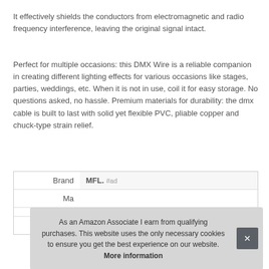It effectively shields the conductors from electromagnetic and radio frequency interference, leaving the original signal intact.
Perfect for multiple occasions: this DMX Wire is a reliable companion in creating different lighting effects for various occasions like stages, parties, weddings, etc. When it is not in use, coil it for easy storage. No questions asked, no hassle. Premium materials for durability: the dmx cable is built to last with solid yet flexible PVC, pliable copper and chuck-type strain relief.
|  |  |
| --- | --- |
| Brand | MFL. #ad |
| Ma |  |
|  |  |
| Width | Inches |
As an Amazon Associate I earn from qualifying purchases. This website uses the only necessary cookies to ensure you get the best experience on our website. More information